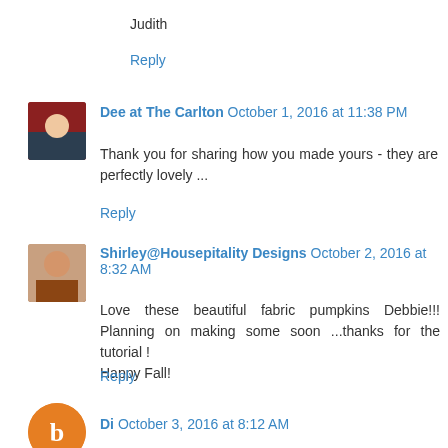Judith
Reply
Dee at The Carlton  October 1, 2016 at 11:38 PM
Thank you for sharing how you made yours - they are perfectly lovely ...
Reply
Shirley@Housepitality Designs  October 2, 2016 at 8:32 AM
Love these beautiful fabric pumpkins Debbie!!! Planning on making some soon ...thanks for the tutorial !
Happy Fall!
Reply
Di  October 3, 2016 at 8:12 AM